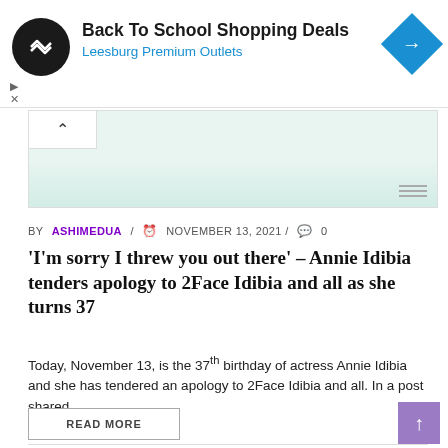[Figure (screenshot): Advertisement banner for Back To School Shopping Deals at Leesburg Premium Outlets, with circular dark logo, blue navigation icon, and ad controls]
[Figure (photo): Partially visible image with light teal/green background, with a chevron/up arrow tab on the top left and horizontal lines on the bottom right]
BY ASHIMEDUA / NOVEMBER 13, 2021 / 0
'I'm sorry I threw you out there' – Annie Idibia tenders apology to 2Face Idibia and all as she turns 37
Today, November 13, is the 37th birthday of actress Annie Idibia and she has tendered an apology to 2Face Idibia and all. In a post shared ...
READ MORE